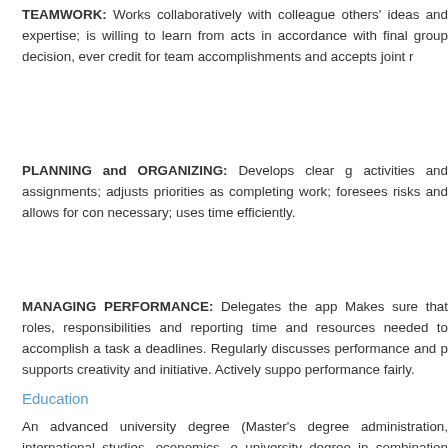TEAMWORK: Works collaboratively with colleagues; shares others' ideas and expertise; is willing to learn from others; acts in accordance with final group decision, even if not in total agreement; contributes to the team's work; gives credit for team accomplishments and accepts joint responsibility for team shortcomings.
PLANNING and ORGANIZING: Develops clear goals; identifies priority activities and assignments; adjusts priorities as required; allocates appropriate amount of time and resources for completing work; foresees risks and allows for contingencies when planning; monitors and adjusts plans and actions as necessary; uses time efficiently.
MANAGING PERFORMANCE: Delegates the appropriate responsibility, accountability and decision-making authority. Makes sure that roles, responsibilities and reporting lines are clear to each staff member. Accurately judges the amount of time and resources needed to accomplish a task and matches task to skills. Monitors progress against milestones and deadlines. Regularly discusses performance and provides feedback and coaching to staff. Encourages risk-taking and supports creativity and initiative. Actively supports the development and career aspirations of staff. Appraises performance fairly.
Education
An advanced university degree (Master's degree or equivalent) in business administration, international studies, economics, engineering or related field. A first university degree in combination with additional two years of qualifying experience may be accepted in lieu of the advanced university degree.